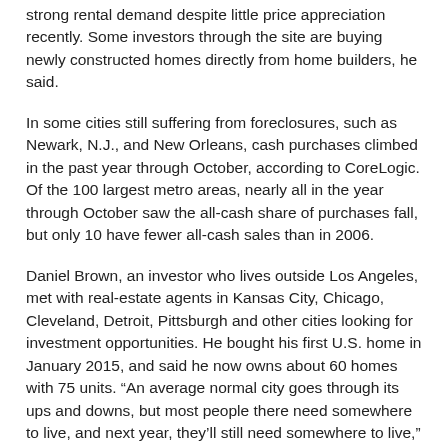strong rental demand despite little price appreciation recently. Some investors through the site are buying newly constructed homes directly from home builders, he said.
In some cities still suffering from foreclosures, such as Newark, N.J., and New Orleans, cash purchases climbed in the past year through October, according to CoreLogic. Of the 100 largest metro areas, nearly all in the year through October saw the all-cash share of purchases fall, but only 10 have fewer all-cash sales than in 2006.
Daniel Brown, an investor who lives outside Los Angeles, met with real-estate agents in Kansas City, Chicago, Cleveland, Detroit, Pittsburgh and other cities looking for investment opportunities. He bought his first U.S. home in January 2015, and said he now owns about 60 homes with 75 units. “An average normal city goes through its ups and downs, but most people there need somewhere to live, and next year, they’ll still need somewhere to live,” said Mr. Brown.
National award winners and seasoned Realtors with ever